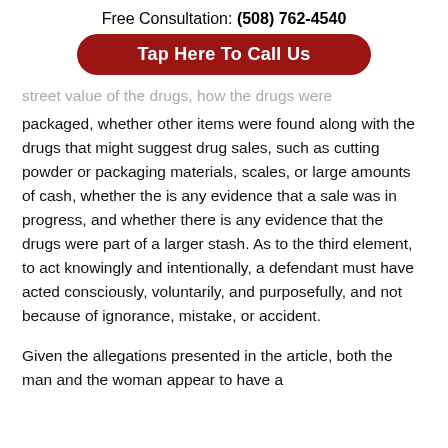Free Consultation: (508) 762-4540
Tap Here To Call Us
street value of the drugs, how the drugs were packaged, whether other items were found along with the drugs that might suggest drug sales, such as cutting powder or packaging materials, scales, or large amounts of cash, whether the is any evidence that a sale was in progress, and whether there is any evidence that the drugs were part of a larger stash. As to the third element, to act knowingly and intentionally, a defendant must have acted consciously, voluntarily, and purposefully, and not because of ignorance, mistake, or accident.
Given the allegations presented in the article, both the man and the woman appear to have a defense at the above. First, the...